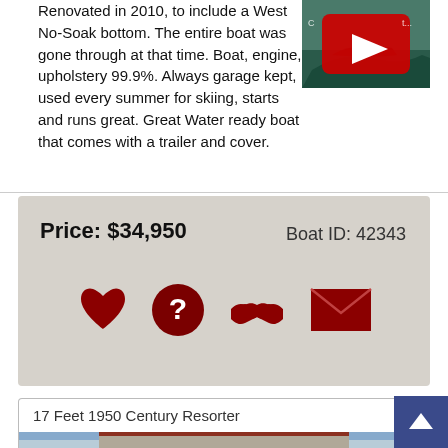Renovated in 2010, to include a West No-Soak bottom. The entire boat was gone through at that time. Boat, engine, upholstery 99.9%. Always garage kept, used every summer for skiing, starts and runs great. Great Water ready boat that comes with a trailer and cover.
[Figure (screenshot): YouTube video thumbnail showing a boat on water with red play button overlay]
Price: $34,950    Boat ID: 42343
[Figure (infographic): Row of dark red icons: heart (favorite), question mark, handshake, envelope]
17 Feet 1950 Century Resorter
[Figure (photo): Photo of a boat dealership building with America.com signage and antique boats displayed]